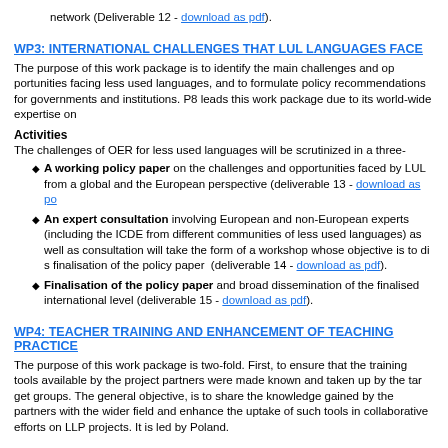network (Deliverable 12 - download as pdf).
WP3: INTERNATIONAL CHALLENGES THAT LUL LANGUAGES FACE
The purpose of this work package is to identify the main challenges and opportunities facing less used languages, and to formulate policy recommendations for governments and institutions. P8 leads this work package due to its world-wide expertise on
Activities
The challenges of OER for less used languages will be scrutinized in a three-
A working policy paper on the challenges and opportunities faced by LUL from a global and the European perspective (deliverable 13 - download as po
An expert consultation involving European and non-European experts (including the ICDE from different communities of less used languages) as well as... consultation will take the form of a workshop whose objective is to dis... finalisation of the policy paper (deliverable 14 - download as pdf).
Finalisation of the policy paper and broad dissemination of the fi... international level (deliverable 15 - download as pdf).
WP4: TEACHER TRAINING AND ENHANCEMENT OF TEACHING PRACTICE
The purpose of this work package is two-fold. First, to ensure that the training tools available by the project partners were made known and taken up by the target groups. The general objective, is to share the knowledge gained by the partners with the wider field and enhance the uptake of such tools in collaborative efforts on LLP projects. It is led by Poland.